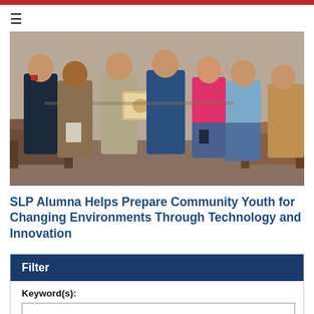[Figure (photo): Group of young people standing together indoors, one person in the center holding a certificate or framed document. The setting appears to be a casual indoor space with sofas visible in the background.]
SLP Alumna Helps Prepare Community Youth for Changing Environments Through Technology and Innovation
Filter
Keyword(s):
Content Type: